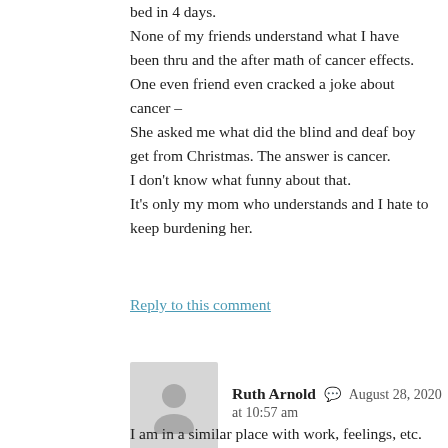bed in 4 days.
None of my friends understand what I have been thru and the after math of cancer effects.
One even friend even cracked a joke about cancer –
She asked me what did the blind and deaf boy get from Christmas. The answer is cancer.
I don't know what funny about that.
It's only my mom who understands and I hate to keep burdening her.
Reply to this comment
[Figure (illustration): Generic user avatar placeholder — gray silhouette of a person on a light gray background]
Ruth Arnold  August 28, 2020 at 10:57 am
I am in a similar place with work, feelings, etc. It's all so overwhelming and sometimes the tug...